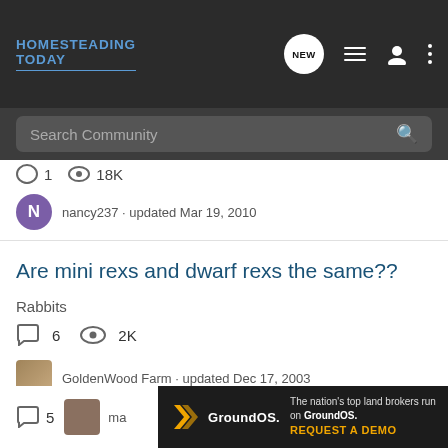HOMESTEADING TODAY
nancy237 · updated Mar 19, 2010
Are mini rexs and dwarf rexs the same??
Rabbits
6  2K
GoldenWood Farm · updated Dec 17, 2003
i was offered a Hotot dutch mix
Rabbits
5
[Figure (screenshot): GroundOS advertisement banner: The nation's top land brokers run on GroundOS. REQUEST A DEMO]